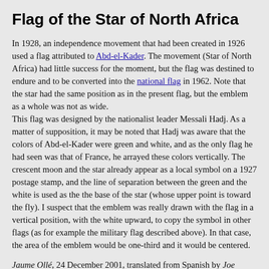Flag of the Star of North Africa
In 1928, an independence movement that had been created in 1926 used a flag attributed to Abd-el-Kader. The movement (Star of North Africa) had little success for the moment, but the flag was destined to endure and to be converted into the national flag in 1962. Note that the star had the same position as in the present flag, but the emblem as a whole was not as wide.
This flag was designed by the nationalist leader Messali Hadj. As a matter of supposition, it may be noted that Hadj was aware that the colors of Abd-el-Kader were green and white, and as the only flag he had seen was that of France, he arrayed these colors vertically. The crescent moon and the star already appear as a local symbol on a 1927 postage stamp, and the line of separation between the green and the white is used as the the base of the star (whose upper point is toward the fly). I suspect that the emblem was really drawn with the flag in a vertical position, with the white upward, to copy the symbol in other flags (as for example the military flag described above). In that case, the area of the emblem would be one-third and it would be centered.
Jaume Ollé, 24 December 2001, translated from Spanish by Joe McMillan